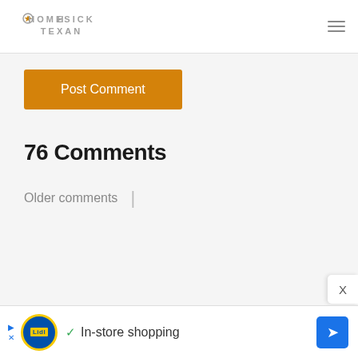HOMESICK TEXAN
Post Comment
76 Comments
Older comments
[Figure (other): Advertisement banner for Lidl in-store shopping with play/close controls, Lidl logo, checkmark, text 'In-store shopping', and navigation arrow icon]